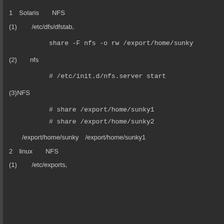1　Solaris　　NFS
(1)　　 /etc/dfs/dfstab,
share -F nfs -o rw /export/home/sunky
(2)　　nfs
# /etc/init.d/nfs.server start
(3)NFS
# share /export/home/sunky1
# share /export/home/sunky2
/export/home/sunky　/export/home/sunky1
2　linux　　NFS
(1)　　 /etc/exports,